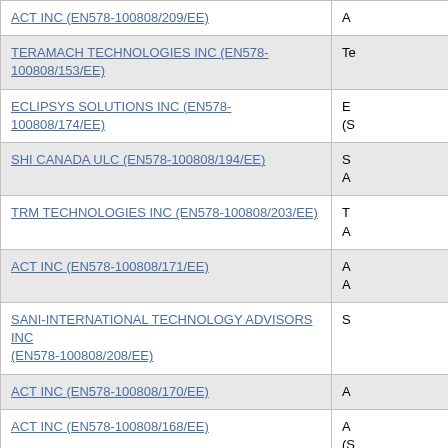| Supplier Name / Contract Number |  |
| --- | --- |
| ACT INC (EN578-100808/209/EE) | A |
| TERAMACH TECHNOLOGIES INC (EN578-100808/153/EE) | Te |
| ECLIPSYS SOLUTIONS INC (EN578-100808/174/EE) | E
(S |
| SHI CANADA ULC (EN578-100808/194/EE) | S
A |
| TRM TECHNOLOGIES INC (EN578-100808/203/EE) | T
A |
| ACT INC (EN578-100808/171/EE) | A
A |
| SANI-INTERNATIONAL TECHNOLOGY ADVISORS INC (EN578-100808/208/EE) | S |
| ACT INC (EN578-100808/170/EE) | A |
| ACT INC (EN578-100808/168/EE) | A
(S |
| PRIVACY-ASSURED INC (EN578-100808/101/EE) | P
L |
| INFORMATION BUILDERS (CANADA) INC (EN578- | In |